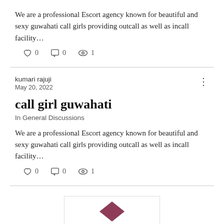We are a professional Escort agency known for beautiful and sexy guwahati call girls providing outcall as well as incall facility…
♡ 0  □ 0  ◎ 1
kumari rajuji
May 20, 2022
call girl guwahati
In General Discussions
We are a professional Escort agency known for beautiful and sexy guwahati call girls providing outcall as well as incall facility…
♡ 0  □ 0  ◎ 1
[Figure (other): Partial image at bottom of page showing a diamond/arrow shape logo in dark red/maroon color within a white box with border]